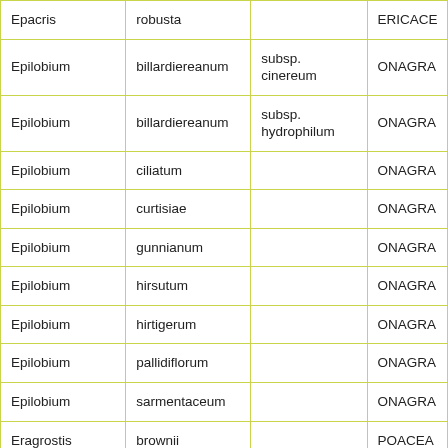| Epacris | robusta |  | ERICACE |
| Epilobium | billardiereanum | subsp. cinereum | ONAGRA |
| Epilobium | billardiereanum | subsp. hydrophilum | ONAGRA |
| Epilobium | ciliatum |  | ONAGRA |
| Epilobium | curtisiae |  | ONAGRA |
| Epilobium | gunnianum |  | ONAGRA |
| Epilobium | hirsutum |  | ONAGRA |
| Epilobium | hirtigerum |  | ONAGRA |
| Epilobium | pallidiflorum |  | ONAGRA |
| Epilobium | sarmentaceum |  | ONAGRA |
| Eragrostis | brownii |  | POACEA |
| Eragrostis | cilianensis |  | POACEA |
| Eragrostis | curvula |  | POACEA |